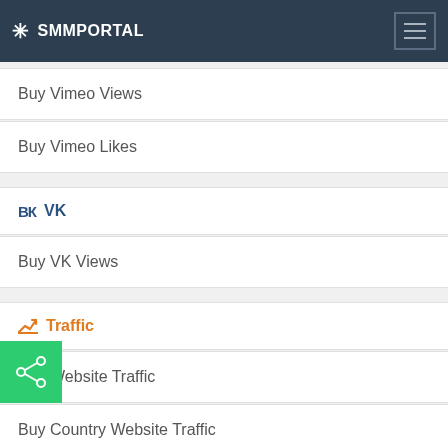SMMPORTAL
Buy Vimeo Views
Buy Vimeo Likes
VK
Buy VK Views
Traffic
Buy Website Traffic
Buy Country Website Traffic
Shopnr